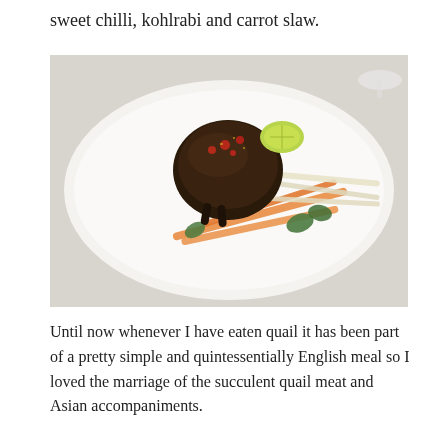sweet chilli, kohlrabi and carrot slaw.
[Figure (photo): A roasted quail with sweet chilli sauce served on a white oval plate with kohlrabi and carrot slaw, garnished with fresh herbs and a lime wedge.]
Until now whenever I have eaten quail it has been part of a pretty simple and quintessentially English meal so I loved the marriage of the succulent quail meat and Asian accompaniments.